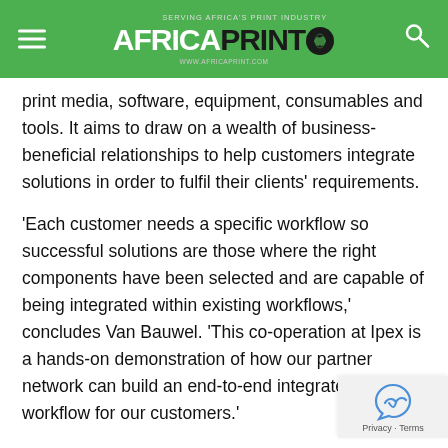AFRICA PRINT - www.africaprint.com
print media, software, equipment, consumables and tools. It aims to draw on a wealth of business-beneficial relationships to help customers integrate solutions in order to fulfil their clients' requirements.
‘Each customer needs a specific workflow so successful solutions are those where the right components have been selected and are capable of being integrated within existing workflows,’ concludes Van Bauwel. ‘This co-operation at Ipex is a hands-on demonstration of how our partner network can build an end-to-end integrated workflow for our customers.’